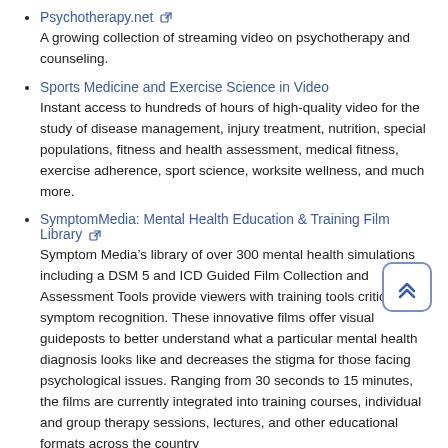Psychotherapy.net
A growing collection of streaming video on psychotherapy and counseling.
Sports Medicine and Exercise Science in Video
Instant access to hundreds of hours of high-quality video for the study of disease management, injury treatment, nutrition, special populations, fitness and health assessment, medical fitness, exercise adherence, sport science, worksite wellness, and much more.
SymptomMedia: Mental Health Education & Training Film Library
Symptom Media’s library of over 300 mental health simulations including a DSM 5 and ICD Guided Film Collection and Assessment Tools provide viewers with training tools critical for symptom recognition. These innovative films offer visual guideposts to better understand what a particular mental health diagnosis looks like and decreases the stigma for those facing psychological issues. Ranging from 30 seconds to 15 minutes, the films are currently integrated into training courses, individual and group therapy sessions, lectures, and other educational formats across the country
Videos of the American Psychological Association